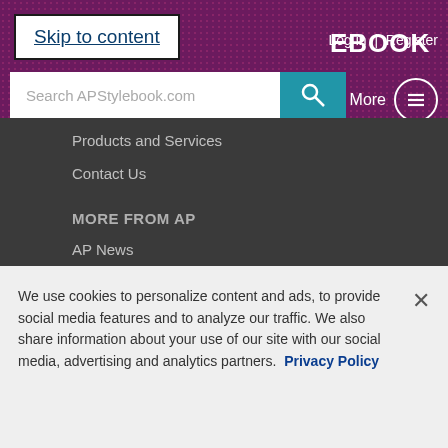Skip to content | EBOOK | Log in | Register
Search APStylebook.com
Products and Services
Contact Us
MORE FROM AP
AP News
AP Books
AP Images
AP Archive
FOLLOW AP STYLEBOOK
We use cookies to personalize content and ads, to provide social media features and to analyze our traffic. We also share information about your use of our site with our social media, advertising and analytics partners. Privacy Policy